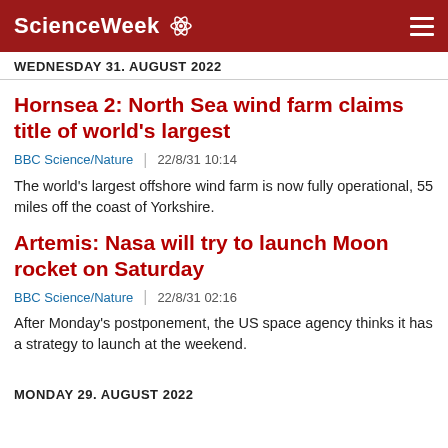ScienceWeek
WEDNESDAY 31. AUGUST 2022
Hornsea 2: North Sea wind farm claims title of world's largest
BBC Science/Nature | 22/8/31 10:14
The world's largest offshore wind farm is now fully operational, 55 miles off the coast of Yorkshire.
Artemis: Nasa will try to launch Moon rocket on Saturday
BBC Science/Nature | 22/8/31 02:16
After Monday's postponement, the US space agency thinks it has a strategy to launch at the weekend.
MONDAY 29. AUGUST 2022